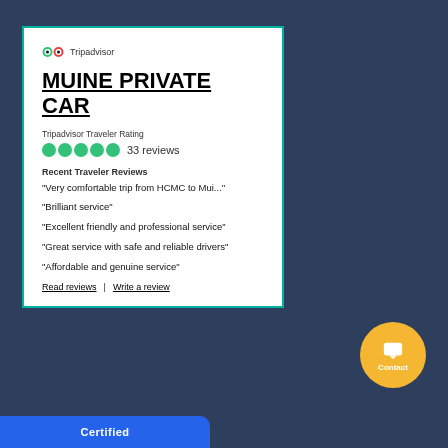[Figure (logo): Tripadvisor logo with owl icon and Tripadvisor text]
MUINE PRIVATE CAR
Tripadvisor Traveler Rating
33 reviews
Recent Traveler Reviews
“Very comfortable trip from HCMC to Mui...”
“Brilliant service”
“Excellent friendly and professional service”
“Great service with safe and reliable drivers”
“Affordable and genuine service”
Read reviews | Write a review
[Figure (other): Circular yellow contact button with chat icon and Contact label]
Certified